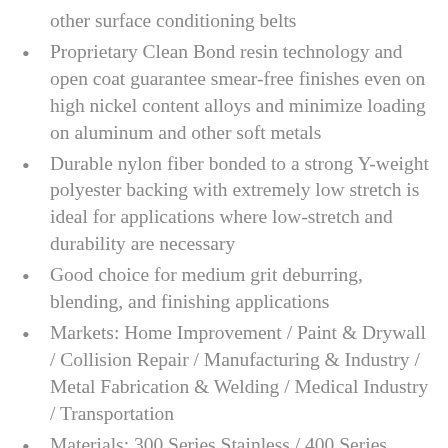other surface conditioning belts
Proprietary Clean Bond resin technology and open coat guarantee smear-free finishes even on high nickel content alloys and minimize loading on aluminum and other soft metals
Durable nylon fiber bonded to a strong Y-weight polyester backing with extremely low stretch is ideal for applications where low-stretch and durability are necessary
Good choice for medium grit deburring, blending, and finishing applications
Markets: Home Improvement / Paint & Drywall / Collision Repair / Manufacturing & Industry / Metal Fabrication & Welding / Medical Industry / Transportation
Materials: 300 Series Stainless / 400 Series Stainless / Aluminum / Brass / Bronze / Cast...